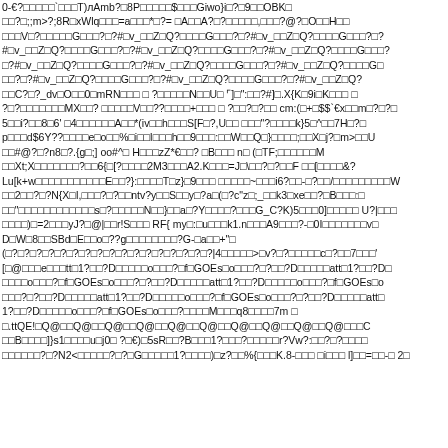0-‎€?□□□□□`□□□T)лAmb?□8P□□□□□$□□□Giwo}i□?□9□□OBK□
□□?□;;m>?;8R□xWlq□□□=a□□□*□?= □A□□A?□?□□□□□,□□□?@?□O□□H□□
□□□V□?□□□□□G□□□?□?#□v_□□Z□Q?□□□□G□□□?□?#□v_□□Z□Q?□□□□G□□□?□?
#□v_□□Z□Q?□□□□G□□□?□?#□v_□□Z□Q?□□□□G□□□?□?#□v_□□Z□Q?□□□□G□□□?
□?#□v_□□Z□Q?□□□□G□□□?□?#□v_□□Z□Q?□□□□G□□□?□?#□v_□□Z□Q?□□□□G□
□□?□?#□v_□□Z□Q?□□□□G□□□?□?#□v_□□Z□Q?□□□□G□□□?□?#□v_□□Z□Q?
□□C?□?_dv□O□□0□mRN□□□ □ ?□□□□□N□□U□ ⌐]□":□□?#]□.X{K□9i□K□□□ □
?□?□□□□□□MX□□? □□□□□V□□??□□□□+□□□ □ ?□□?□?□□ cm:(□+□$$`€x□□m□?□?□
5□□i?□□8□6' □4□□□□□□A□□*(iv□□h□□□S[F□?,U□□ □□□"?□□□□k}5□^□□7H□?□
p□□□d$6Y??□□□□e□o□□%□i□□I□□□h□□9□□□:□□W□□Q□}□□□□;□□X□j?□m>□□U
□□#@?□?n8□?.{g□;] oo#^□ H□□□zZ*€□□? □B□□□ n□ (□TF;□□□□□□M
□□Xt;X□□□□□□□?□□6{□[?□□□□2M3□□□A2.K□□□=J□\□□?□?□□F □□[□□□□&?
Lu[k+w□□□□□□□□□□□E□□?}:□□□□T□z}□9□□□ □□□□□~□□□i6?□□-□?□□/□□□□□□□□□W
□□2□□?□?N{X□I,□□□?□?□□ntv?y□□S□□y□?a□(□?c"z□;_□□k3□xe□□?□B□□□:□
□□"□□□□□□□□□□□□s□?□□□□□N□□}□□a□?Y□□□□?□□□G_C?K)5□□□0]□□□□□ U?|□□□
□□□□)□=2□□□yJ?□@|□□r!S□□□ RF{ my□:□u□□□k1.n□□□A9□□□?-□0I□□□□□□□v□
D□W□8□□SBd□E□□o□??g□□□□□□□□?G-□a□□+"□
(□?□?□?□?□?□?□?□?□?□?□?□?□?□?□?□?□?□|4□□□□□>□v?□?□□□□□c□?□□7□□□'
[□@□□□e□□□tt□1?□□?D□□□□□o□□□?□f□GOEs□o□□□?□?□□?D□□□□□att□1?□□?D□
□□□□o□□□?□f□GOEs□o□□□?□?□□?D□□□□□att□1?□□?D□□□□□o□□□?□f□GOEs□o
□□□?□?□□?D□□□□□att□1?□□?D□□□□□o□□□?□f□GOEs□o□□□?□?□□?D□□□□□att□
1?□□?D□□□□□o□□□?□f□GOEs□o□□□?□□□□M□□□q8□□□□7m □
□.ttQE!□Q@□□Q@□□Q@□□Q@□□Q@□□Q@□□Q@□□Q@□□Q@□□Q@□□□C
□□B□□□□]}s1□□□□u□j0□ ?□€)□5sR□□?B□□□1?□□□?□□□□□r?Vw?:□□?□?□□□□
□□□□□□?□?N2<□□□□□?□?□G□□□□□1?□□□□)□z?□□%{□□□K.8-□□□ □i□□□ l]□□=□□-□ 2□